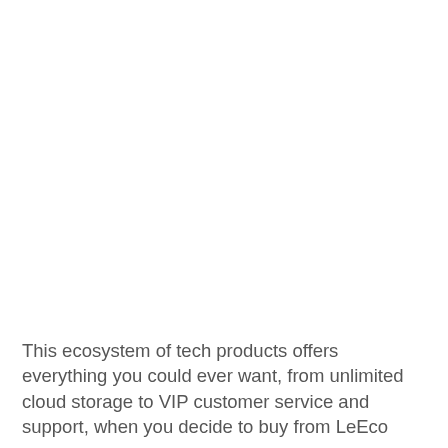This ecosystem of tech products offers everything you could ever want, from unlimited cloud storage to VIP customer service and support, when you decide to buy from LeEco